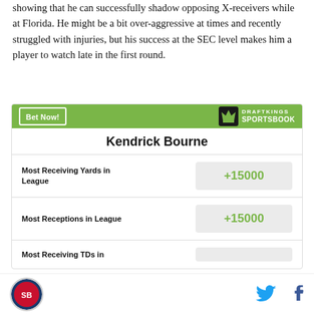showing that he can successfully shadow opposing X-receivers while at Florida. He might be a bit over-aggressive at times and recently struggled with injuries, but his success at the SEC level makes him a player to watch late in the first round.
| Player | Bet | Odds |
| --- | --- | --- |
| Kendrick Bourne | Most Receiving Yards in League | +15000 |
| Kendrick Bourne | Most Receptions in League | +15000 |
| Kendrick Bourne | Most Receiving TDs in |  |